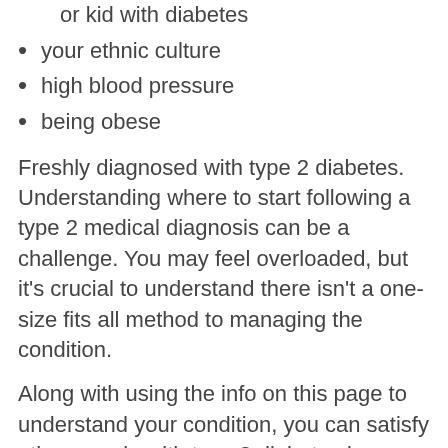or kid with diabetes
your ethnic culture
high blood pressure
being obese
Freshly diagnosed with type 2 diabetes. Understanding where to start following a type 2 medical diagnosis can be a challenge. You may feel overloaded, but it's crucial to understand there isn't a one-size fits all method to managing the condition.
Along with using the info on this page to understand your condition, you can satisfy other people with type 2 diabetes in our Knowing Zone. You'll hear advice from others in your position, and get useful tools to assist you feel more confident handling your condition. r pancreas can't mWant to know more?